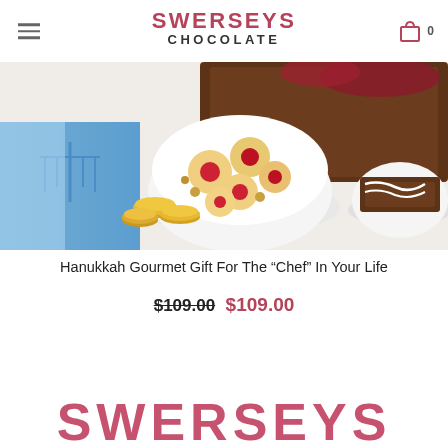Swerseys Chocolate
[Figure (photo): Product photo of a Hanukkah gourmet gift set featuring a bowl of thumbprint cookies, gold chocolate coins, blue oven mitts with menorah design, and a box of chocolate treats on a white surface.]
Hanukkah Gourmet Gift For The “Chef” In Your Life
$109.00 $109.00
SWERSEYS